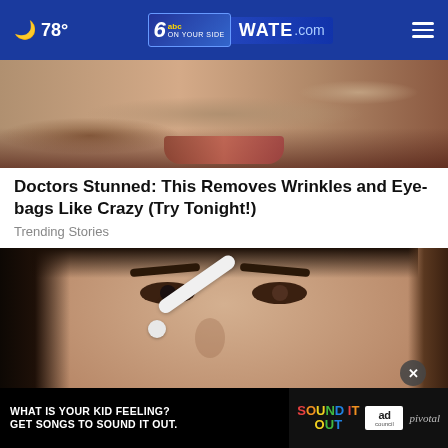🌙 78° | WATE.com
[Figure (photo): Close-up of aged skin showing wrinkles and lips]
Doctors Stunned: This Removes Wrinkles and Eye-bags Like Crazy (Try Tonight!)
Trending Stories
[Figure (photo): Young woman applying something near her eye with a white tool/device]
[Figure (other): Advertisement: What is your kid feeling? Get songs to sound it out. Sound It Out ad council pivotal]